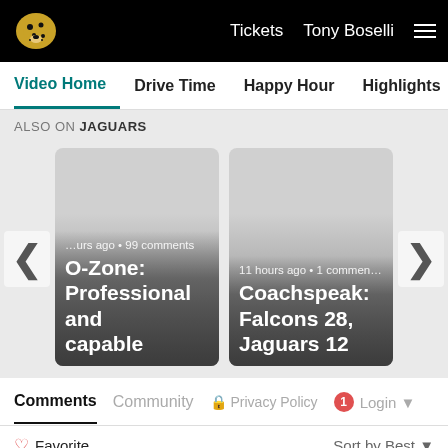Tickets  Tony Boselli  ☰
Video Home  Drive Time  Happy Hour  Highlights  The Hunt  G
ALSO ON JAGUARS
[Figure (screenshot): Two video thumbnail cards. Left card: '...hours ago • 99 comments' and title 'O-Zone: Professional and capable'. Right card: '11 hours ago • 1 commen...' and title 'Coachspeak: Falcons 28, Jaguars 12'. Left and right carousel arrows visible.]
Comments  Community  🔒 Privacy Policy  1  Login ▾
♡ Favorite  Sort by Best ▾